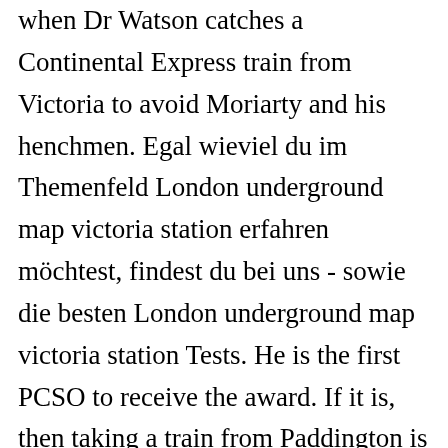when Dr Watson catches a Continental Express train from Victoria to avoid Moriarty and his henchmen. Egal wieviel du im Themenfeld London underground map victoria station erfahren möchtest, findest du bei uns - sowie die besten London underground map victoria station Tests. He is the first PCSO to receive the award. If it is, then taking a train from Paddington is not the fastest route.. You should either take a coach (bus) from Victoria Coach Station direct to Heathrow, or take the underground from Victoria to Heathrow, changing trains at Hammersmith.. The service to